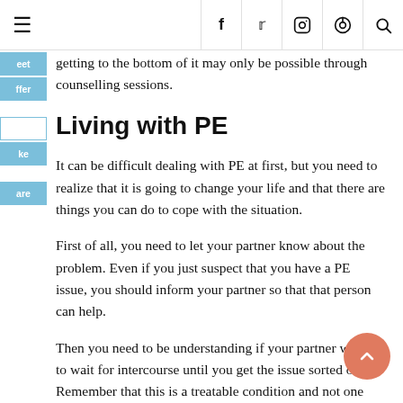Navigation bar with hamburger menu and social icons (f, twitter, instagram, pinterest, search)
getting to the bottom of it may only be possible through counselling sessions.
Living with PE
It can be difficult dealing with PE at first, but you need to realize that it is going to change your life and that there are things you can do to cope with the situation.
First of all, you need to let your partner know about the problem. Even if you just suspect that you have a PE issue, you should inform your partner so that that person can help.
Then you need to be understanding if your partner wants to wait for intercourse until you get the issue sorted out. Remember that this is a treatable condition and not one